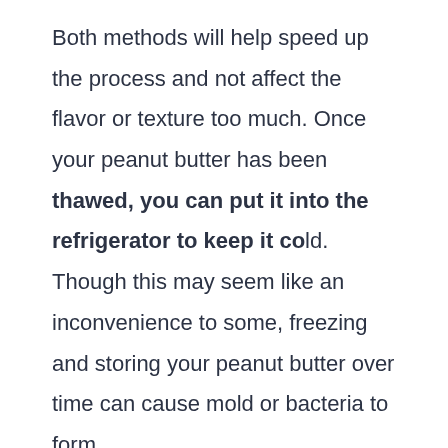Both methods will help speed up the process and not affect the flavor or texture too much. Once your peanut butter has been thawed, you can put it into the refrigerator to keep it cold. Though this may seem like an inconvenience to some, freezing and storing your peanut butter over time can cause mold or bacteria to form.
Summary: